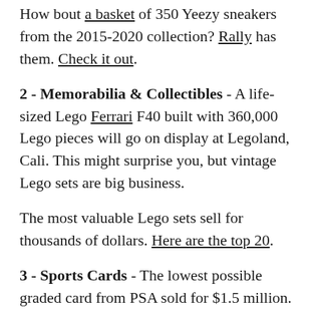How bout a basket of 350 Yeezy sneakers from the 2015-2020 collection? Rally has them. Check it out.
2 - Memorabilia & Collectibles - A life-sized Lego Ferrari F40 built with 360,000 Lego pieces will go on display at Legoland, Cali. This might surprise you, but vintage Lego sets are big business.
The most valuable Lego sets sell for thousands of dollars. Here are the top 20.
3 - Sports Cards - The lowest possible graded card from PSA sold for $1.5 million. This card appears to have been to hell and back. Rips, tears, folds, scuffs, trims! and creases.
How could this card still be worth A Mill and a half?? Because it's the T-206. The Honus Wagner that some call the Holy Grail of card collecting. It was the same